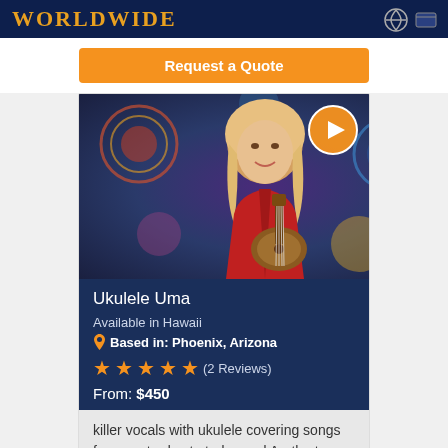WORLDWIDE
Request a Quote
[Figure (photo): Woman with blonde hair holding a ukulele, wearing a red floral outfit, in front of colorful psychedelic background. Play button icon in top right corner.]
Ukulele Uma
Available in Hawaii
Based in: Phoenix, Arizona
★★★★★ (2 Reviews)
From: $450
killer vocals with ukulele covering songs from yesterday to today and Aretha to Zeppelin and everything up to